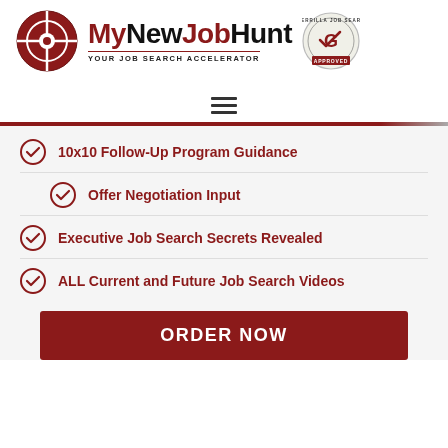[Figure (logo): MyNewJobHunt logo with crosshair circle and Guerrilla Job Search System approved badge. Tagline: YOUR JOB SEARCH ACCELERATOR]
[Figure (other): Hamburger menu icon (three horizontal lines)]
10x10 Follow-Up Program Guidance
Offer Negotiation Input
Executive Job Search Secrets Revealed
ALL Current and Future Job Search Videos
ORDER NOW